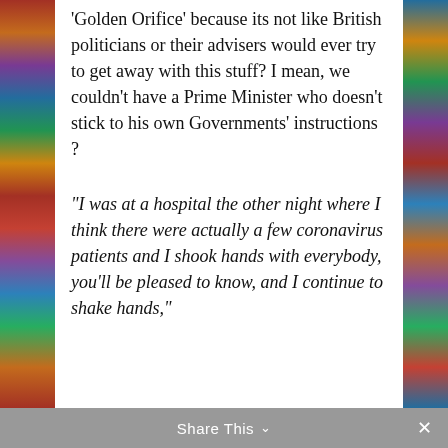'Golden Orifice' because its not like British politicians or their advisers would ever try to get away with this stuff? I mean, we couldn't have a Prime Minister who doesn't stick to his own Governments' instructions ?
“I was at a hospital the other night where I think there were actually a few coronavirus patients and I shook hands with everybody, you’ll be pleased to know, and I continue to shake hands,”
Share This ∨